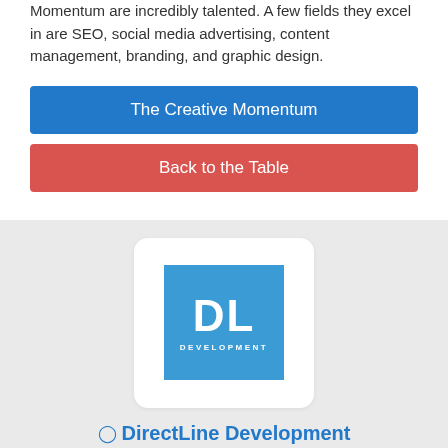Momentum are incredibly talented. A few fields they excel in are SEO, social media advertising, content management, branding, and graphic design.
The Creative Momentum
Back to the Table
[Figure (logo): DL Development logo: blue square with white bold letters DL and DEVELOPMENT text below]
DirectLine Development
144 Ivy Lane, #3, King of Prussia, Pennsylvania 19406
#7 of 10 Top Delivery Web Developer